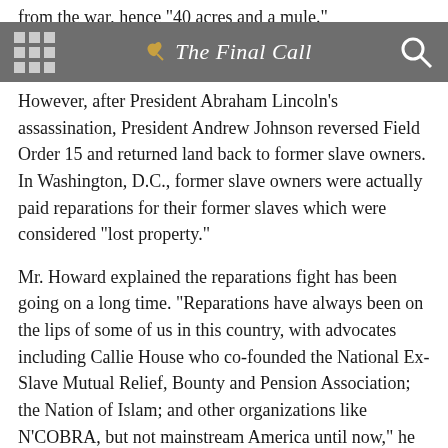The Final Call
However, after President Abraham Lincoln's assassination, President Andrew Johnson reversed Field Order 15 and returned land back to former slave owners. In Washington, D.C., former slave owners were actually paid reparations for their former slaves which were considered “lost property.”
Mr. Howard explained the reparations fight has been going on a long time. “Reparations have always been on the lips of some of us in this country, with advocates including Callie House who co-founded the National Ex-Slave Mutual Relief, Bounty and Pension Association; the Nation of Islam; and other organizations like N’COBRA, but not mainstream America until now,” he said.
More than 60 leaders flew in for the Evanston symposium from local reparations movements in cities including Detroit; San Francisco; Boston; St. Louis; and Asheville, North Carolina.